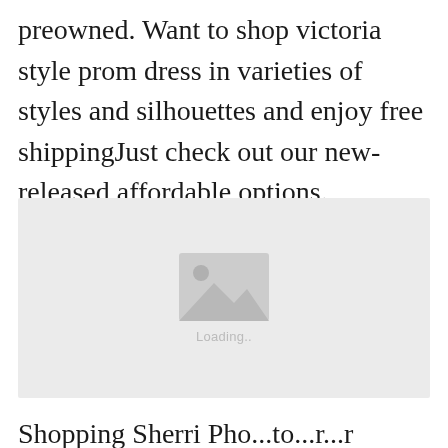preowned. Want to shop victoria style prom dress in varieties of styles and silhouettes and enjoy free shippingJust check out our new-released affordable options.
[Figure (photo): Loading image placeholder with mountain/image icon and 'Loading..' text on a light grey background]
Shopping Sherri Pho...to...r...r Halter B...